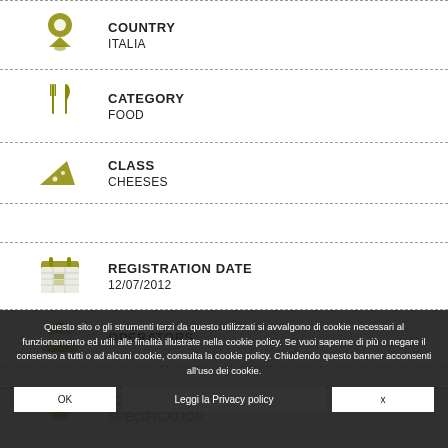COUNTRY
ITALIA
CATEGORY
FOOD
CLASS
CHEESES
REGISTRATION DATE
12/07/2012
OPERATORS
Questo sito o gli strumenti terzi da questo utilizzati si avvalgono di cookie necessari al funzionamento ed utili alle finalità illustrate nella cookie policy. Se vuoi saperne di più o negare il consenso a tutti o ad alcuni cookie, consulta la cookie policy. Chiudendo questo banner acconsenti all'uso dei cookie.
SPECIFICATION